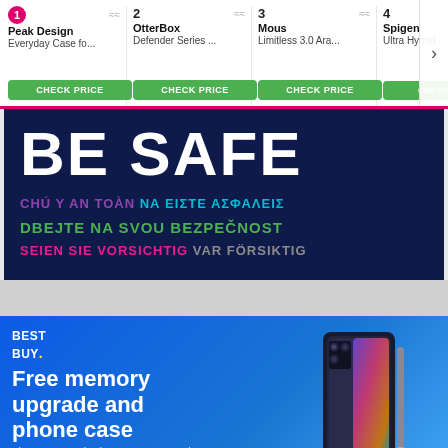[Figure (screenshot): Product carousel showing ranked phone cases: 1. Peak Design Everyday Case fo..., 2. OtterBox Defender Series..., 3. Mous Limitless 3.0 Ara..., 4. Spigen Ultra Hybrid. Each with a CHECK PRICE green button.]
[Figure (infographic): Dark navy banner with large white text BE SAFE and multilingual safety phrases in various colors: Vietnamese (purple/teal), Greek (teal), Czech (green), German (pink), Norwegian (gray).]
[Figure (infographic): Best Buy advertisement on blue gradient background. Text: Free memory upgrade and phone case when you pre-order the new Samsung Galaxy Z Series with qualified activation. Pre-Order Now button. Image of Samsung Galaxy Z Fold phone.]